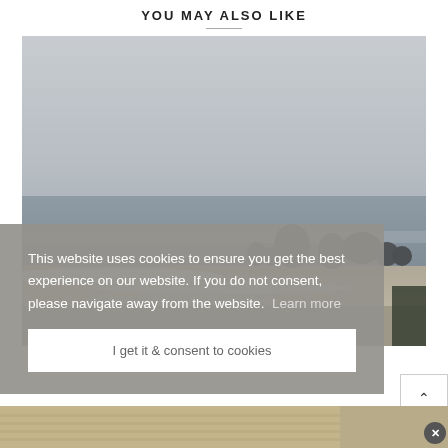YOU MAY ALSO LIKE
[Figure (photo): Foggy coastal beach scene with rocks in the ocean and waves on shore, overcast grey sky]
This website uses cookies to ensure you get the best experience on our website. If you do not consent, please navigate away from the website.  Learn more
I get it & consent to cookies
[Figure (photo): Bottom strip showing partial beach/sand image on the left and a separate image on the right]